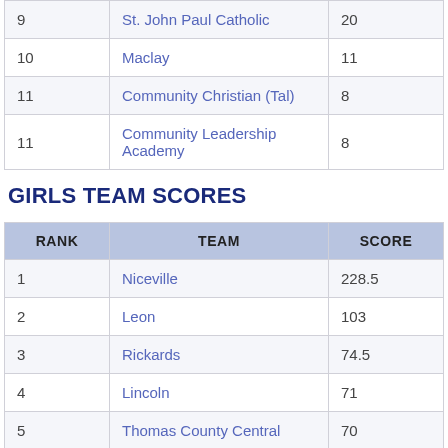| RANK | TEAM | SCORE |
| --- | --- | --- |
| 9 | St. John Paul Catholic | 20 |
| 10 | Maclay | 11 |
| 11 | Community Christian (Tal) | 8 |
| 11 | Community Leadership Academy | 8 |
GIRLS TEAM SCORES
| RANK | TEAM | SCORE |
| --- | --- | --- |
| 1 | Niceville | 228.5 |
| 2 | Leon | 103 |
| 3 | Rickards | 74.5 |
| 4 | Lincoln | 71 |
| 5 | Thomas County Central | 70 |
| 6 | Lowndes | 62.5 |
| 7 | Florida High | 28 |